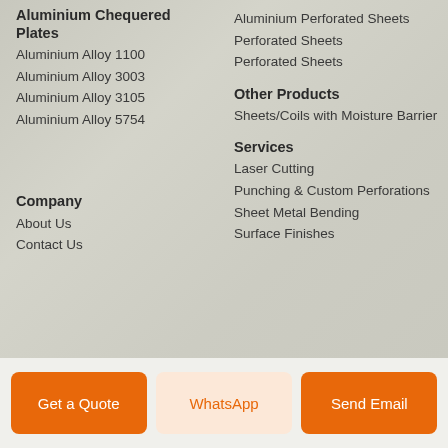Aluminium Chequered Plates
Aluminium Alloy 1100
Aluminium Alloy 3003
Aluminium Alloy 3105
Aluminium Alloy 5754
Aluminium Perforated Sheets
Perforated Sheets
Perforated Sheets
Other Products
Sheets/Coils with Moisture Barrier
Services
Laser Cutting
Punching & Custom Perforations
Sheet Metal Bending
Surface Finishes
Company
About Us
Contact Us
Get a Quote
WhatsApp
Send Email